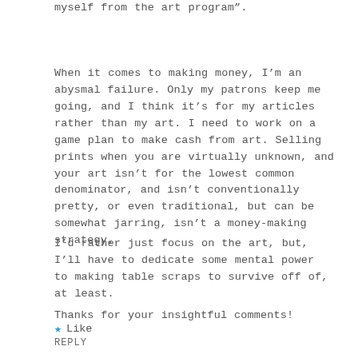myself from the art program".
When it comes to making money, I'm an abysmal failure. Only my patrons keep me going, and I think it's for my articles rather than my art. I need to work on a game plan to make cash from art. Selling prints when you are virtually unknown, and your art isn't for the lowest common denominator, and isn't conventionally pretty, or even traditional, but can be somewhat jarring, isn't a money-making strategy.
I'd rather just focus on the art, but, I'll have to dedicate some mental power to making table scraps to survive off of, at least.
Thanks for your insightful comments!
★ Like
REPLY